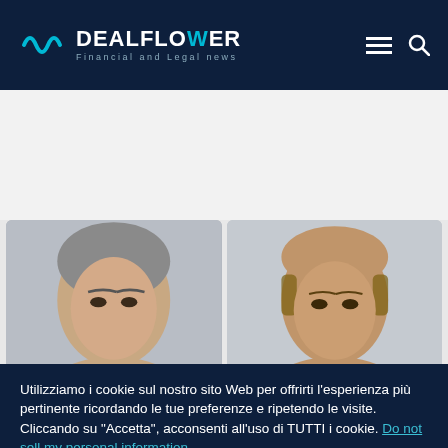DEALFLOWER Financial and Legal news
[Figure (photo): Two headshot photos of men side by side, partially visible, cropped at chin level]
Utilizziamo i cookie sul nostro sito Web per offrirti l'esperienza più pertinente ricordando le tue preferenze e ripetendo le visite. Cliccando su "Accetta", acconsenti all'uso di TUTTI i cookie. Do not sell my personal information.
Cookie settings  Accetta